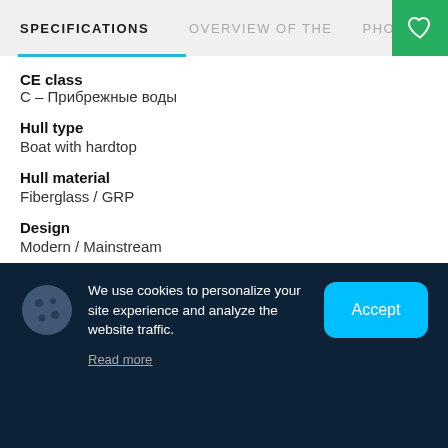SPECIFICATIONS  OVERVIEW OF THE  PHO
CE class
С – Прибрежные воды
Hull type
Boat with hardtop
Hull material
Fiberglass / GRP
Design
Modern / Mainstream
Aim of usage
Joyriding
We use cookies to personalize your site experience and analyze the website traffic.
Read more